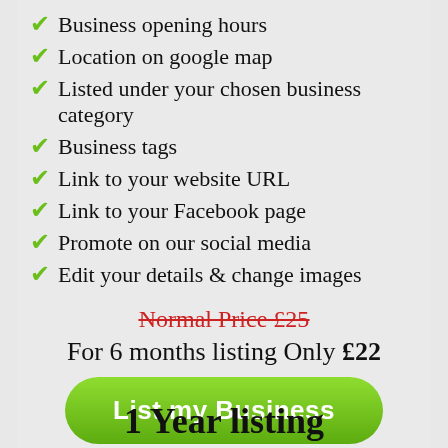Business opening hours
Location on google map
Listed under your chosen business category
Business tags
Link to your website URL
Link to your Facebook page
Promote on our social media
Edit your details & change images
Normal Price £25
For 6 months listing Only £22
List my Business
1 Year listing